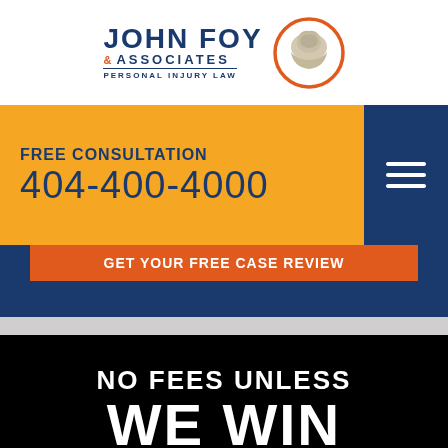[Figure (logo): John Foy & Associates Personal Injury Law logo with flexing arm muscle inside orange circle]
FREE CONSULTATION
404-400-4000
GET YOUR FREE CASE REVIEW
NO FEES UNLESS
WE WIN
FOR YOU
If We Don't Win Your Case, You Don't Pay a